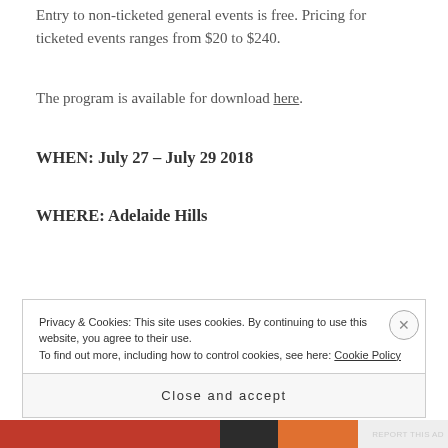Entry to non-ticketed general events is free. Pricing for ticketed events ranges from $20 to $240.
The program is available for download here.
WHEN: July 27 – July 29 2018
WHERE: Adelaide Hills
Privacy & Cookies: This site uses cookies. By continuing to use this website, you agree to their use. To find out more, including how to control cookies, see here: Cookie Policy
Close and accept